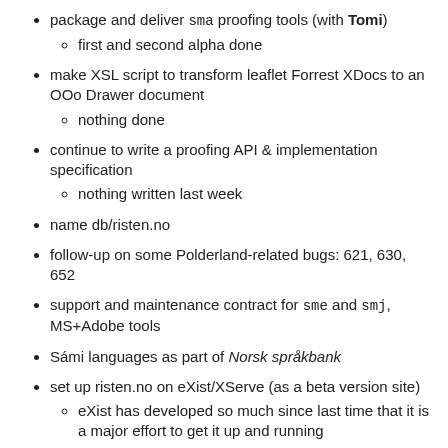package and deliver sma proofing tools (with Tomi)
first and second alpha done
make XSL script to transform leaflet Forrest XDocs to an OOo Drawer document
nothing done
continue to write a proofing API & implementation specification
nothing written last week
name db/risten.no
follow-up on some Polderland-related bugs: 621, 630, 652
support and maintenance contract for sme and smj, MS+Adobe tools
Sámi languages as part of Norsk språkbank
set up risten.no on eXist/XServe (as a beta version site)
eXist has developed so much since last time that it is a major effort to get it up and running